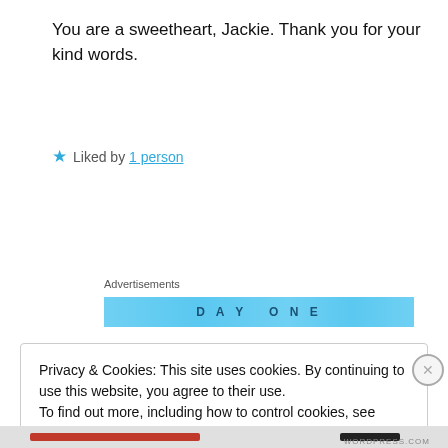You are a sweetheart, Jackie. Thank you for your kind words.
★ Liked by 1 person
Advertisements
[Figure (screenshot): DAY ONE advertisement banner with light blue background]
Privacy & Cookies: This site uses cookies. By continuing to use this website, you agree to their use. To find out more, including how to control cookies, see here: Cookie Policy
Close and accept